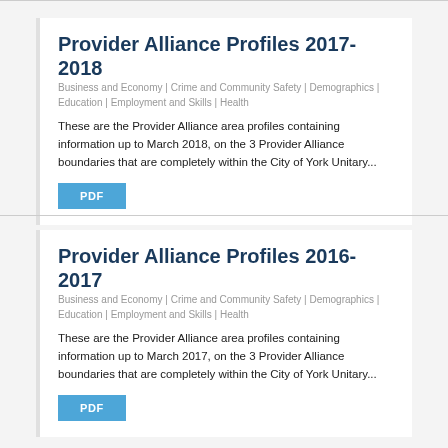Provider Alliance Profiles 2017-2018
Business and Economy | Crime and Community Safety | Demographics | Education | Employment and Skills | Health
These are the Provider Alliance area profiles containing information up to March 2018, on the 3 Provider Alliance boundaries that are completely within the City of York Unitary...
PDF
Provider Alliance Profiles 2016-2017
Business and Economy | Crime and Community Safety | Demographics | Education | Employment and Skills | Health
These are the Provider Alliance area profiles containing information up to March 2017, on the 3 Provider Alliance boundaries that are completely within the City of York Unitary...
PDF